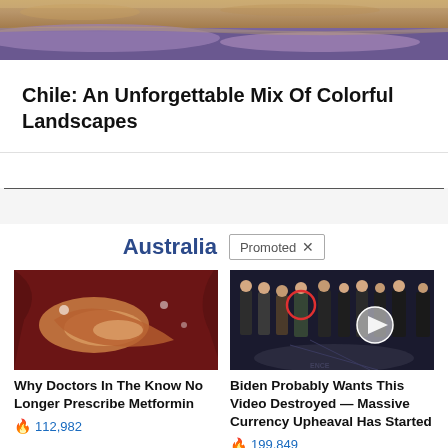[Figure (photo): Landscape photo of Chile showing sandy/rocky terrain and purple mountain reflections in water]
Chile: An Unforgettable Mix Of Colorful Landscapes
Australia  Promoted ×
[Figure (photo): Close-up medical/biological image showing what appears to be a pancreas or organ]
[Figure (photo): Group of men in suits standing in a formal setting, possibly CIA headquarters, with one circled in red]
Why Doctors In The Know No Longer Prescribe Metformin
🔥 112,982
Biden Probably Wants This Video Destroyed — Massive Currency Upheaval Has Started
🔥 199,849